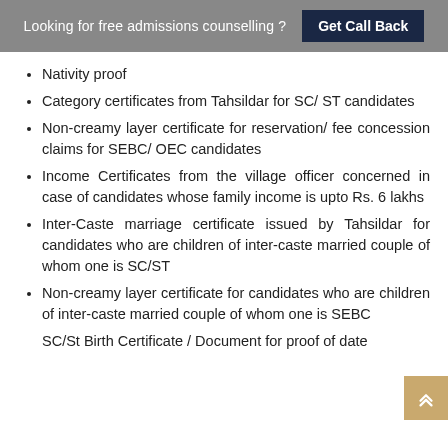Looking for free admissions counselling ? Get Call Back
Nativity proof
Category certificates from Tahsildar for SC/ ST candidates
Non-creamy layer certificate for reservation/ fee concession claims for SEBC/ OEC candidates
Income Certificates from the village officer concerned in case of candidates whose family income is upto Rs. 6 lakhs
Inter-Caste marriage certificate issued by Tahsildar for candidates who are children of inter-caste married couple of whom one is SC/ST
Non-creamy layer certificate for candidates who are children of inter-caste married couple of whom one is SEBC
SC/St Birth Certificate / Document for proof of date...